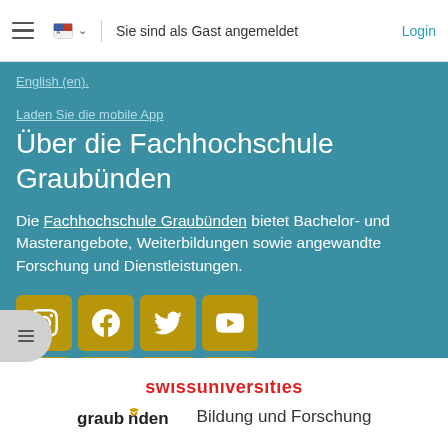Sie sind als Gast angemeldet | Login
English (en).
Laden Sie die mobile App
Über die Fachhochschule Graubünden
Die Fachhochschule Graubünden bietet Bachelor- und Masterangebote, Weiterbildungen sowie angewandte Forschung und Dienstleistungen.
[Figure (infographic): Grid of 8 social media icon buttons (Instagram, Facebook, Twitter, YouTube, Snapchat, Flickr, XING, LinkedIn) in gold/dark yellow color on teal background]
swissuniversities | graubünden Bildung und Forschung